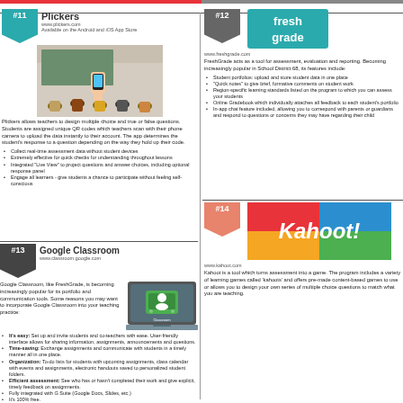#11 Plickers
www.plickers.com
Available on the Android and iOS App Store
[Figure (photo): Classroom photo with students and teacher holding up QR code cards, teacher scanning with phone]
Plickers allows teachers to design multiple choice and true or false questions. Students are assigned unique QR codes which teachers scan with their phone camera to upload the data instantly to their account. The app determines the student's response to a question depending on the way they hold up their code.
Collect real-time assessment data without student devices
Extremely effective for quick checks for understanding throughout lessons
Integrated "Live View" to project questions and answer choices, including optional response panel
Engage all learners - give students a chance to participate without feeling self-conscious
#13 Google Classroom
www.classroom.google.com
Google Classroom, like FreshGrade, is becoming increasingly popular for its portfolio and communication tools. Some reasons you may want to incorporate Google Classroom into your teaching practice:
[Figure (screenshot): Google Classroom app interface on a laptop screen]
It's easy: Set up and invite students and co-teachers with ease. User-friendly interface allows for sharing information, assignments, announcements and questions.
Time-saving: Exchange assignments and communicate with students in a timely manner all in one place.
Organization: To-do lists for students with upcoming assignments, class calendar with events and assignments, electronic handouts saved to personalized student folders.
Efficient assessment: See who has or hasn't completed their work and give explicit, timely feedback on assignments.
Fully integrated with G Suite (Google Docs, Slides, etc.)
It's 100% free.
#12 FreshGrade
www.freshgrade.com
FreshGrade acts as a tool for assessment, evaluation and reporting. Becoming increasingly popular in School District 68, its features include:
Student portfolios: upload and store student data in one place
"Quick notes" to give brief, formative comments on student work
Region-specific learning standards listed on the program to which you can assess your students
Online Gradebook which individually attaches all feedback to each student's portfolio
In-app chat feature included, allowing you to correspond with parents or guardians and respond to questions or concerns they may have regarding their child
#14 Kahoot!
www.kahoot.com
Kahoot is a tool which turns assessment into a game. The program includes a variety of learning games called 'kahoots' and offers pre-made content-based games to use or allows you to design your own series of multiple choice questions to match what you are teaching.